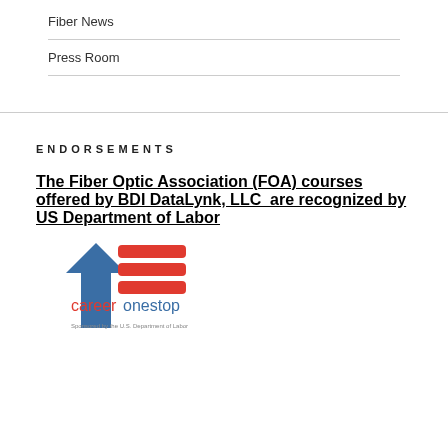Fiber News
Press Room
ENDORSEMENTS
The Fiber Optic Association (FOA) courses offered by BDI DataLynk, LLC  are recognized by US Department of Labor
[Figure (logo): CareerOneStop logo — blue star shape with red wavy flag, text 'careeronestop' in red/blue, subtitle 'Sponsored by the U.S. Department of Labor']